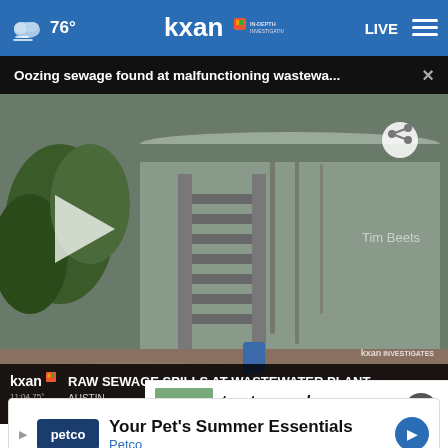76° kxan IN-DEPTH INVESTIGATIVE LIVE
Oozing sewage found at malfunctioning wastewa... ×
[Figure (screenshot): Video still of a large cylindrical wastewater treatment tank with rust/sewage stains running down its side, metal scaffolding/ladder structure, flooded ground, trees on the left. Lower-third overlay reads: RAW SEWAGE SPILLS AT WASTEWATER PLANT / AUSTIN. KXAN Investigates watermark bottom right. Tim Beets photo credit.]
to stay cool
Travis County • 21 hours ago
Your Pet's Summer Essentials
Petco